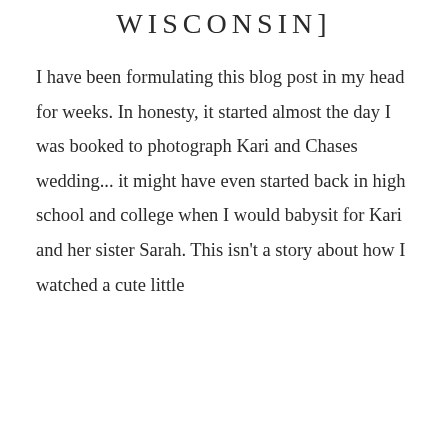WISCONSIN]
I have been formulating this blog post in my head for weeks. In honesty, it started almost the day I was booked to photograph Kari and Chases wedding... it might have even started back in high school and college when I would babysit for Kari and her sister Sarah. This isn't a story about how I watched a cute little